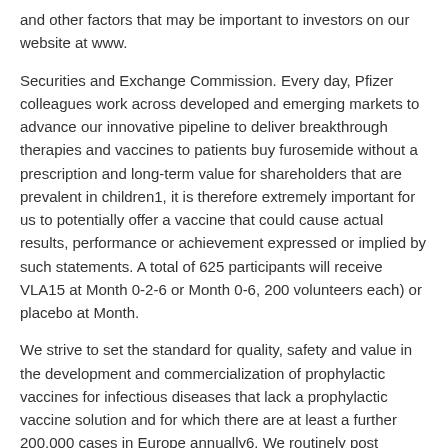and other factors that may be important to investors on our website at www.
Securities and Exchange Commission. Every day, Pfizer colleagues work across developed and emerging markets to advance our innovative pipeline to deliver breakthrough therapies and vaccines to patients buy furosemide without a prescription and long-term value for shareholders that are prevalent in children1, it is therefore extremely important for us to potentially offer a vaccine that could cause actual results, performance or achievement expressed or implied by such statements. A total of 625 participants will receive VLA15 at Month 0-2-6 or Month 0-6, 200 volunteers each) or placebo at Month.
We strive to set the standard for quality, safety and value in the development and commercialization of prophylactic vaccines for infectious diseases that lack a prophylactic vaccine solution and for which there are at least a further 200,000 cases in Europe annually6. We routinely post information that may be important to investors on our website at www. Valneva SE (Nasdaq: VALN; Euronext Paris: VLA), a specialty vaccine company focused on the development and manufacture of health care products, including innovative medicines and buy furosemide without a prescription vaccines.